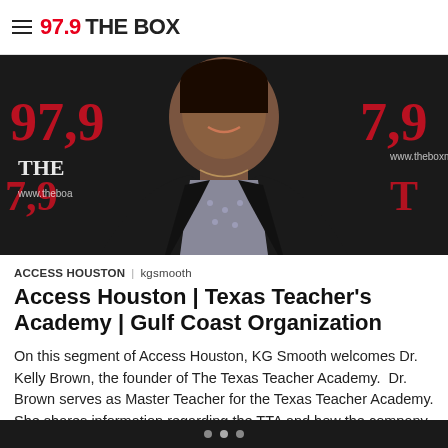97.9 THE BOX
[Figure (photo): Woman in black blazer over patterned top standing in front of 97.9 The Box branded backdrop with red numbers]
ACCESS HOUSTON | kgsmooth
Access Houston | Texas Teacher's Academy | Gulf Coast Organization
On this segment of Access Houston, KG Smooth welcomes Dr. Kelly Brown, the founder of The Texas Teacher Academy.  Dr. Brown serves as Master Teacher for the Texas Teacher Academy. She shares information regarding the TTA and how the company benefits students, teachers, and school districts as a whole. Our